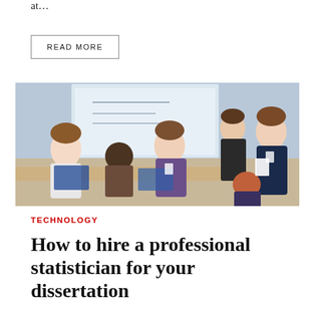at…
READ MORE
[Figure (photo): Group of people in a classroom workshop setting, smiling and collaborating around laptops, with a presenter standing at the right and a projector screen visible in the background.]
TECHNOLOGY
How to hire a professional statistician for your dissertation